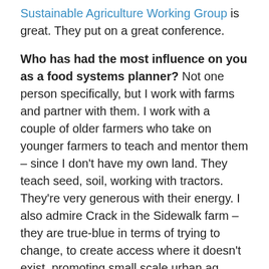Sustainable Agriculture Working Group is great. They put on a great conference.
Who has had the most influence on you as a food systems planner? Not one person specifically, but I work with farms and partner with them. I work with a couple of older farmers who take on younger farmers to teach and mentor them – since I don't have my own land. They teach seed, soil, working with tractors. They're very generous with their energy. I also admire Crack in the Sidewalk farm – they are true-blue in terms of trying to change, to create access where it doesn't exist, promoting small scale urban ag. They follow sustainable practices,
Do you have any advice for someone entering the food systems planning field? What makes you successful in your work? What skills do you use the